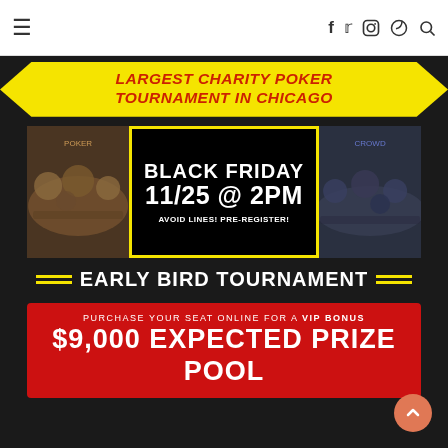Navigation bar with hamburger menu and social icons (f, twitter, instagram, pinterest, search)
LARGEST CHARITY POKER TOURNAMENT IN CHICAGO
[Figure (photo): Promotional flyer for Black Friday charity poker tournament on 11/25 @ 2PM with photos of players]
BLACK FRIDAY 11/25 @ 2PM AVOID LINES! PRE-REGISTER!
EARLY BIRD TOURNAMENT
PURCHASE YOUR SEAT ONLINE FOR A VIP BONUS $9,000 EXPECTED PRIZE POOL